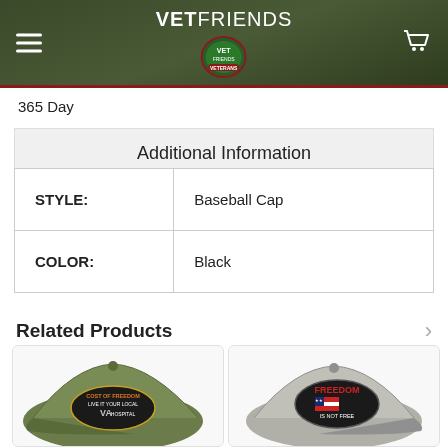VETFRIENDS
365 Day
Additional Information
|  |  |
| --- | --- |
| STYLE: | Baseball Cap |
| COLOR: | Black |
Related Products
[Figure (photo): Olive green baseball cap with embroidered VA Hospital patch]
[Figure (photo): Gray baseball cap with embroidered FREEDOM patch]